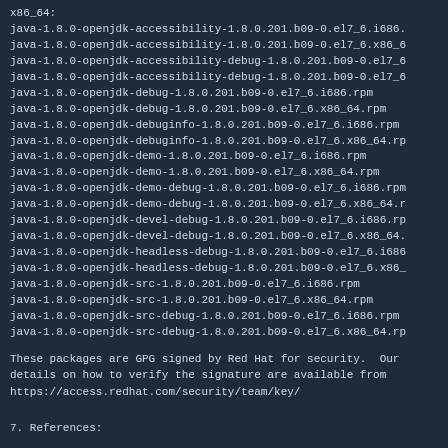x86_64:
java-1.8.0-openjdk-accessibility-1.8.0.201.b09-0.el7_6.i686.
java-1.8.0-openjdk-accessibility-1.8.0.201.b09-0.el7_6.x86_6
java-1.8.0-openjdk-accessibility-debug-1.8.0.201.b09-0.el7_6
java-1.8.0-openjdk-accessibility-debug-1.8.0.201.b09-0.el7_6
java-1.8.0-openjdk-debug-1.8.0.201.b09-0.el7_6.i686.rpm
java-1.8.0-openjdk-debug-1.8.0.201.b09-0.el7_6.x86_64.rpm
java-1.8.0-openjdk-debuginfo-1.8.0.201.b09-0.el7_6.i686.rpm
java-1.8.0-openjdk-debuginfo-1.8.0.201.b09-0.el7_6.x86_64.rp
java-1.8.0-openjdk-demo-1.8.0.201.b09-0.el7_6.i686.rpm
java-1.8.0-openjdk-demo-1.8.0.201.b09-0.el7_6.x86_64.rpm
java-1.8.0-openjdk-demo-debug-1.8.0.201.b09-0.el7_6.i686.rpm
java-1.8.0-openjdk-demo-debug-1.8.0.201.b09-0.el7_6.x86_64.r
java-1.8.0-openjdk-devel-debug-1.8.0.201.b09-0.el7_6.i686.rp
java-1.8.0-openjdk-devel-debug-1.8.0.201.b09-0.el7_6.x86_64.
java-1.8.0-openjdk-headless-debug-1.8.0.201.b09-0.el7_6.i686
java-1.8.0-openjdk-headless-debug-1.8.0.201.b09-0.el7_6.x86_
java-1.8.0-openjdk-src-1.8.0.201.b09-0.el7_6.i686.rpm
java-1.8.0-openjdk-src-1.8.0.201.b09-0.el7_6.x86_64.rpm
java-1.8.0-openjdk-src-debug-1.8.0.201.b09-0.el7_6.i686.rpm
java-1.8.0-openjdk-src-debug-1.8.0.201.b09-0.el7_6.x86_64.rp
These packages are GPG signed by Red Hat for security.  Our
details on how to verify the signature are available from
https://access.redhat.com/security/team/key/
7. References:
https://access.redhat.com/security/cve/CVE-2019-2422
https://access.redhat.com/security/updates/classification/#m
8. Contact: